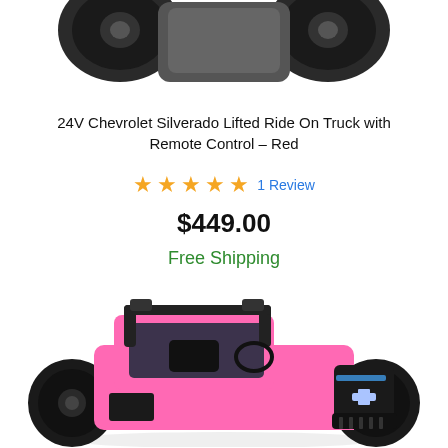[Figure (photo): Top portion of a lifted ride-on truck toy with large black rubber tires, photographed from above on white background]
24V Chevrolet Silverado Lifted Ride On Truck with Remote Control – Red
★★★★★ 1 Review
$449.00
Free Shipping
[Figure (photo): Pink Chevrolet Silverado lifted ride-on truck toy with large black off-road tires, black roll bar, steering wheel, and Chevy logo on front grille, photographed at an angle on white background]